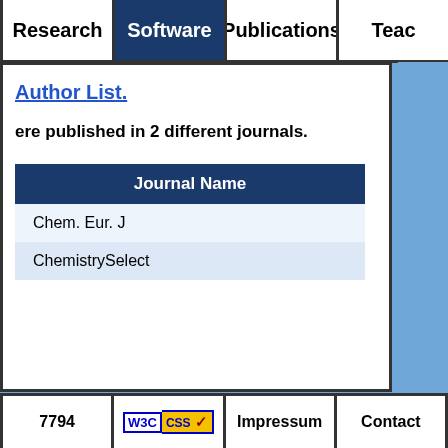Research | Software | Publications | Teac...
Author List.
ere published in 2 different journals.
| Journal Name |
| --- |
| Chem. Eur. J |
| ChemistrySelect |
7794 | W3C CSS | Impressum | Contact